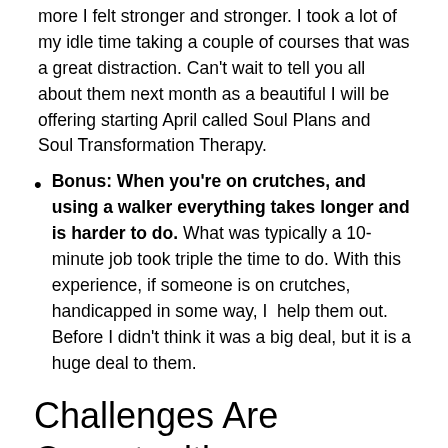more I felt stronger and stronger.  I took a lot of my idle time taking a couple of courses that was a great distraction.  Can't wait to tell you all about them next month as a beautiful I will be offering starting April called Soul Plans and Soul Transformation Therapy.
Bonus: When you’re on crutches, and using a walker everything takes longer and is harder to do. What was typically a 10-minute job took triple the time to do. With this experience, if someone is on crutches, handicapped in some way, I  help them out. Before I didn’t think it was a big deal, but it is a huge deal to them.
Challenges Are Opportunities
The challenges we go through can make us stronger, and help us discover new things about ourselves. Next